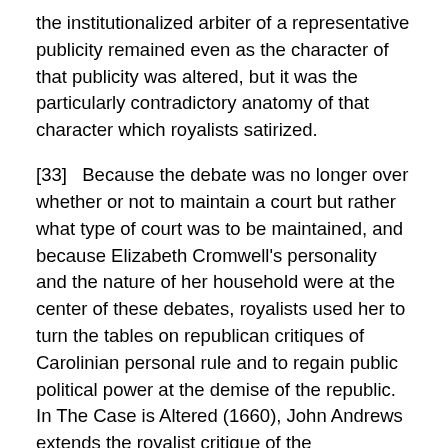the institutionalized arbiter of a representative publicity remained even as the character of that publicity was altered, but it was the particularly contradictory anatomy of that character which royalists satirized.
[33]   Because the debate was no longer over whether or not to maintain a court but rather what type of court was to be maintained, and because Elizabeth Cromwell's personality and the nature of her household were at the center of these debates, royalists used her to turn the tables on republican critiques of Carolinian personal rule and to regain public political power at the demise of the republic. In The Case is Altered (1660), John Andrews extends the royalist critique of the Protectorate as a mere plebeian shadow of former monarchical glories by manipulating the semiotics of the consort in the same way that republican opponents had with Henrietta Maria. Puritans had frequently represented the Catholic Queen as a Virgin Mary figure who illegitimately interposed